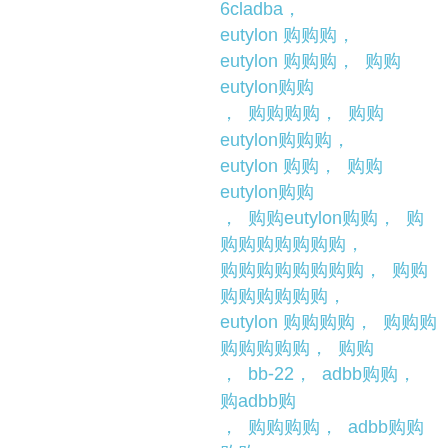eutylon, 6cladba, eutylon 6cladba, eutylon 6cladba, 购买eutylon代购, , 代购6cladba, 购买eutylon代购, eutylon 代购价, 购买eutylon购买, , 购买eutylon购买, 购买eutylon购买, 购买购买购买购买, 购买购买购买购买, eutylon 代购购买, 购买购买购买购买, 购代 , bb-22, adbb购, 购adbb购, , 购购购, adbb购购购购, bb-22购购购, 购bb-22购, bb-22购, bb-22 powder for sale, bb-22 powder online, 6cladba for sale, 6cl drugs, 5cl drugs, jwh-018, jwh-018 replacement, 6cladba, 6cl adba powder, 6cl adba for sale, 6cl adba suppliers, 6cl adba buy, 6cl adb a china, 6cladba china supplier, 6cladba online, 6cladba online buy, 6cladba china